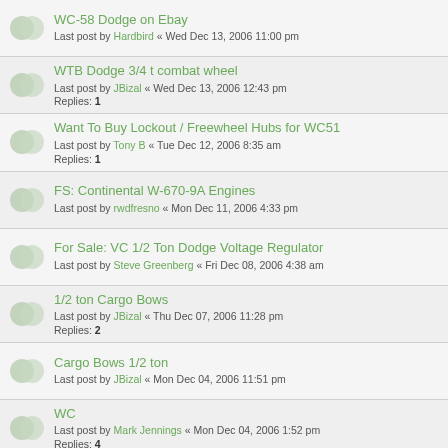WC-58 Dodge on Ebay
Last post by Hardbird « Wed Dec 13, 2006 11:00 pm
WTB Dodge 3/4 t combat wheel
Last post by JBizal « Wed Dec 13, 2006 12:43 pm
Replies: 1
Want To Buy Lockout / Freewheel Hubs for WC51
Last post by Tony B « Tue Dec 12, 2006 8:35 am
Replies: 1
FS: Continental W-670-9A Engines
Last post by rwdfresno « Mon Dec 11, 2006 4:33 pm
For Sale: VC 1/2 Ton Dodge Voltage Regulator
Last post by Steve Greenberg « Fri Dec 08, 2006 4:38 am
1/2 ton Cargo Bows
Last post by JBizal « Thu Dec 07, 2006 11:28 pm
Replies: 2
Cargo Bows 1/2 ton
Last post by JBizal « Mon Dec 04, 2006 11:51 pm
WC
Last post by Mark Jennings « Mon Dec 04, 2006 1:52 pm
Replies: 4